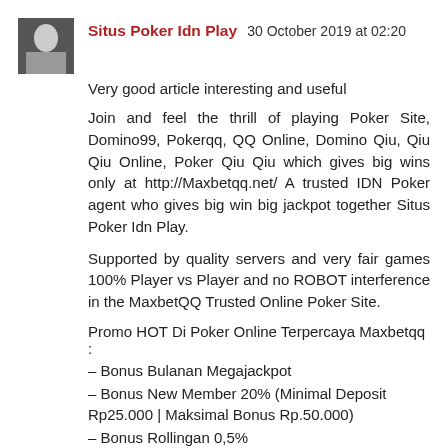Situs Poker Idn Play 30 October 2019 at 02:20
Very good article interesting and useful
Join and feel the thrill of playing Poker Site, Domino99, Pokerqq, QQ Online, Domino Qiu, Qiu Qiu Online, Poker Qiu Qiu which gives big wins only at http://Maxbetqq.net/ A trusted IDN Poker agent who gives big win big jackpot together Situs Poker Idn Play.
Supported by quality servers and very fair games 100% Player vs Player and no ROBOT interference in the MaxbetQQ Trusted Online Poker Site.
Promo HOT Di Poker Online Terpercaya Maxbetqq :
– Bonus Bulanan Megajackpot
– Bonus New Member 20% (Minimal Deposit Rp25.000 | Maksimal Bonus Rp.50.000)
– Bonus Rollingan 0,5%
– Bonus Deposit Rp. 5000 Setiap Hari
– Bonus Refferal 10% Up To 60%